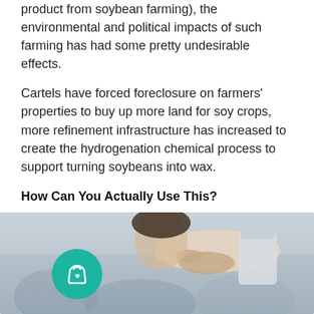product from soybean farming), the environmental and political impacts of such farming has had some pretty undesirable effects.
Cartels have forced foreclosure on farmers' properties to buy up more land for soy crops, more refinement infrastructure has increased to create the hydrogenation chemical process to support turning soybeans into wax.
How Can You Actually Use This?
Hopefully I've been able to shed some light on the differences between a few of the major candle waxes used to make your favourite types of candles.
LEARN THE EASY ART OF CANDLE MAKING YOURSELF here
[Figure (photo): A person sniffing or smelling a candle, with a teal shopping bag icon circle overlay in the bottom left. Background shows blurred people in what appears to be a shop or market setting.]